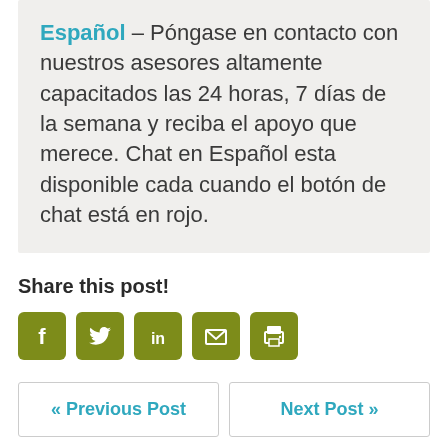Español – Póngase en contacto con nuestros asesores altamente capacitados las 24 horas, 7 días de la semana y reciba el apoyo que merece. Chat en Español esta disponible cada cuando el botón de chat está en rojo.
Share this post!
[Figure (infographic): Five olive/yellow-green rounded square social media icon buttons: Facebook (f), Twitter (bird), LinkedIn (in), Email (envelope), Print (printer)]
« Previous Post
Next Post »
Leave a Comment